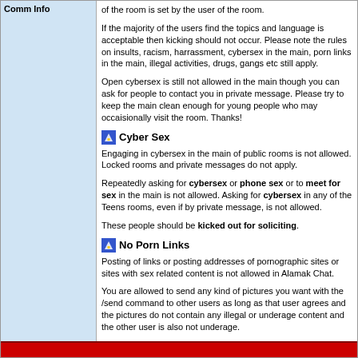Comm Info
of the room is set by the user of the room.
If the majority of the users find the topics and language is acceptable then kicking should not occur. Please note the rules on insults, racism, harrassment, cybersex in the main, porn links in the main, illegal activities, drugs, gangs etc still apply.
Open cybersex is still not allowed in the main though you can ask for people to contact you in private message. Please try to keep the main clean enough for young people who may occaisionally visit the room. Thanks!
Cyber Sex
Engaging in cybersex in the main of public rooms is not allowed. Locked rooms and private messages do not apply.
Repeatedly asking for cybersex or phone sex or to meet for sex in the main is not allowed. Asking for cybersex in any of the Teens rooms, even if by private message, is not allowed.
These people should be kicked out for soliciting.
No Porn Links
Posting of links or posting addresses of pornographic sites or sites with sex related content is not allowed in Alamak Chat.
You are allowed to send any kind of pictures you want with the /send command to other users as long as that user agrees and the pictures do not contain any illegal or underage content and the other user is also not underage.